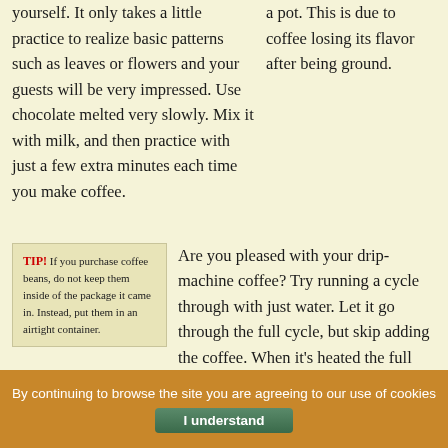yourself. It only takes a little practice to realize basic patterns such as leaves or flowers and your guests will be very impressed. Use chocolate melted very slowly. Mix it with milk, and then practice with just a few extra minutes each time you make coffee.
a pot. This is due to coffee losing its flavor after being ground.
TIP! If you purchase coffee beans, do not keep them inside of the package it came in. Instead, put them in an airtight container.
Are you pleased with your drip-machine coffee? Try running a cycle through with just water. Let it go through the full cycle, but skip adding the coffee. When it's heated the full cup of water, you may begin again with the grounds. You can freshen up your machine in this manner as well.
Pesticide free coffee should be the only type of coffee you buy. Coffee develops
TIP! In order to increase the flavor of your coffee, buy a
By continuing to browse the site you are agreeing to our use of cookies
I understand